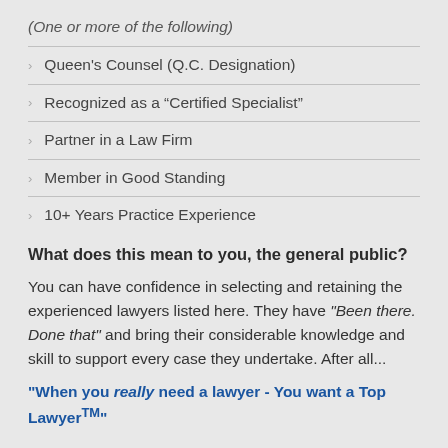(One or more of the following)
Queen's Counsel (Q.C. Designation)
Recognized as a “Certified Specialist”
Partner in a Law Firm
Member in Good Standing
10+ Years Practice Experience
What does this mean to you, the general public?
You can have confidence in selecting and retaining the experienced lawyers listed here. They have “Been there. Done that” and bring their considerable knowledge and skill to support every case they undertake. After all...
"When you really need a lawyer - You want a Top Lawyer™"